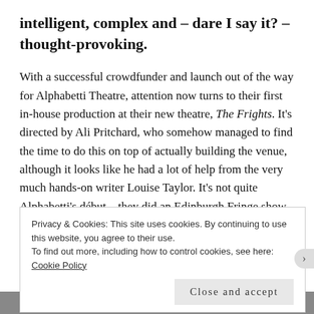intelligent, complex and – dare I say it? – thought-provoking.
With a successful crowdfunder and launch out of the way for Alphabetti Theatre, attention now turns to their first in-house production at their new theatre, The Frights. It's directed by Ali Pritchard, who somehow managed to find the time to do this on top of actually building the venue, although it looks like he had a lot of help from the very much hands-on writer Louise Taylor. It's not quite Alphabetti's début – they did an Edinburgh Fringe show
Privacy & Cookies: This site uses cookies. By continuing to use this website, you agree to their use.
To find out more, including how to control cookies, see here: Cookie Policy
Close and accept
Build a better web and a better world.